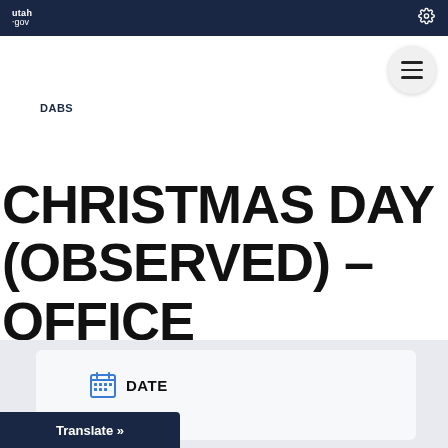utah.gov
DABS
CHRISTMAS DAY (OBSERVED) – OFFICE
DATE
2021
Translate »